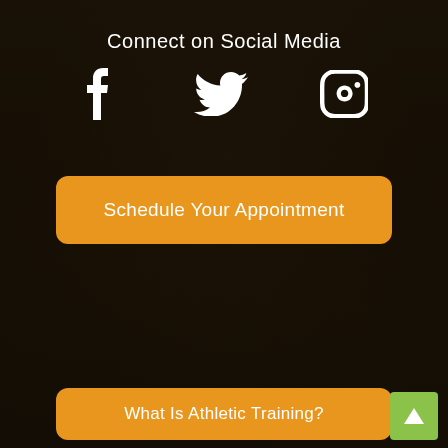[Figure (photo): Dark gym/athletic training event background photo with crowd and booths showing 'Athletic Trainers' signage, overlaid with dark semi-transparent filter]
Connect on Social Media
[Figure (infographic): Three white social media icons: Facebook (f), Twitter (bird), Instagram (camera square) displayed in a row]
Schedule Your Appointment
What Is Athletic Training?